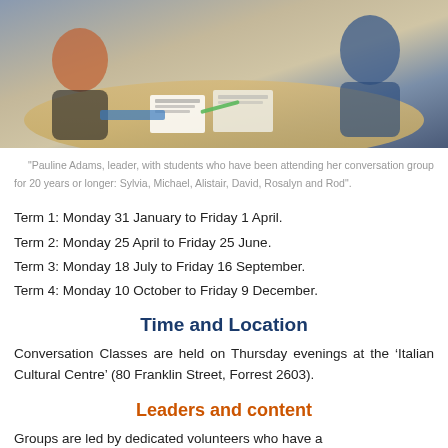[Figure (photo): People sitting around a table with documents and books, appearing to be in a conversation group or class setting.]
"Pauline Adams, leader, with students who have been attending her conversation group for 20 years or longer: Sylvia, Michael, Alistair, David, Rosalyn and Rod".
Term 1: Monday 31 January to Friday 1 April.
Term 2: Monday 25 April to Friday 25 June.
Term 3: Monday 18 July to Friday 16 September.
Term 4: Monday 10 October to Friday 9 December.
Time and Location
Conversation Classes are held on Thursday evenings at the ‘Italian Cultural Centre’ (80 Franklin Street, Forrest 2603).
Leaders and content
Groups are led by dedicated volunteers who have a